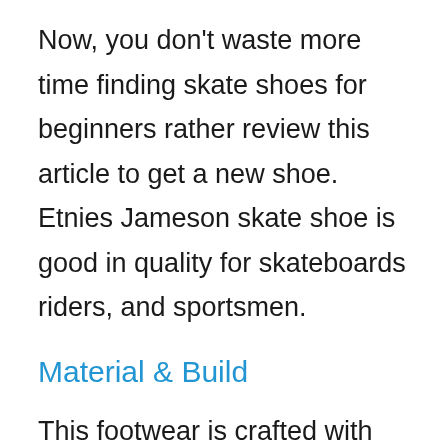Now, you don't waste more time finding skate shoes for beginners rather review this article to get a new shoe. Etnies Jameson skate shoe is good in quality for skateboards riders, and sportsmen.
Material & Build
This footwear is crafted with canvas, synthetic, and rubber. These types of shoes figure out best for beginners skate. They are tall, have a big rating, and have